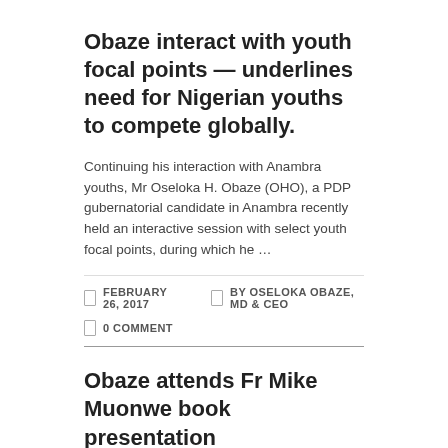Obaze interact with youth focal points — underlines need for Nigerian youths to compete globally.
Continuing his interaction with Anambra youths, Mr Oseloka H. Obaze (OHO), a PDP gubernatorial candidate in Anambra recently held an interactive session with select youth focal points, during which he …
FEBRUARY 26, 2017   BY OSELOKA OBAZE, MD & CEO
0 COMMENT
Obaze attends Fr Mike Muonwe book presentation